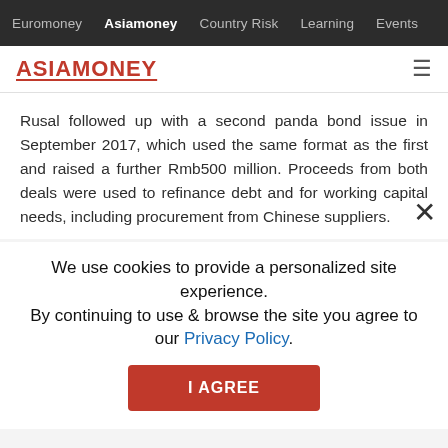Euromoney  Asiamoney  Country Risk  Learning  Events
[Figure (logo): ASIAMONEY logo in red with underline, and hamburger menu icon]
Rusal followed up with a second panda bond issue in September 2017, which used the same format as the first and raised a further Rmb500 million. Proceeds from both deals were used to refinance debt and for working capital needs, including procurement from Chinese suppliers.
We use cookies to provide a personalized site experience. By continuing to use & browse the site you agree to our Privacy Policy.
I AGREE
The[...] from a CEE corporate[...] but the first to be region since 20[...]
CICC played a cru[...] ilitating the deals, including ensuring the support of the China Securities Regulatory Commission, the Chinese